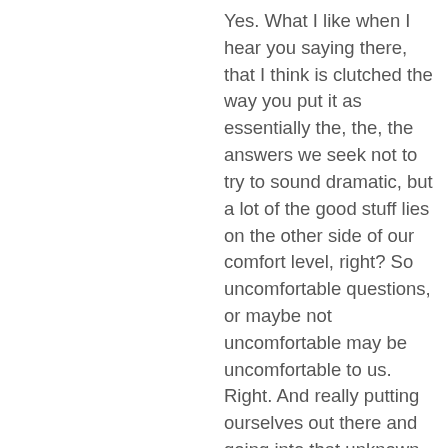Yes. What I like when I hear you saying there, that I think is clutched the way you put it as essentially the, the, the answers we seek not to try to sound dramatic, but a lot of the good stuff lies on the other side of our comfort level, right? So uncomfortable questions, or maybe not uncomfortable may be uncomfortable to us. Right. And really putting ourselves out there and going into that unknown one last Google question. What was it like going to Brazil and opening up an office, a new branch of the business. I imagine that has to